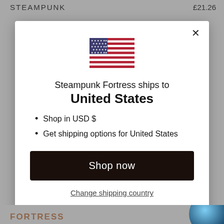STEAMPUNK   £21.26
[Figure (illustration): US flag SVG illustration inside modal]
Steampunk Fortress ships to
United States
Shop in USD $
Get shipping options for United States
Shop now
Change shipping country
FORTRESS